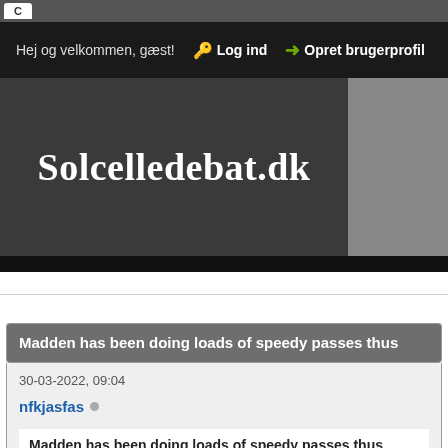C
Hej og velkommen, gæst! 🔑 Log ind → Opret brugerprofil
Solcelledebat.dk
Madden has been doing loads of speedy passes thus
30-03-2022, 09:04
nfkjasfas
Madden has been doing loads of speedy passes thus